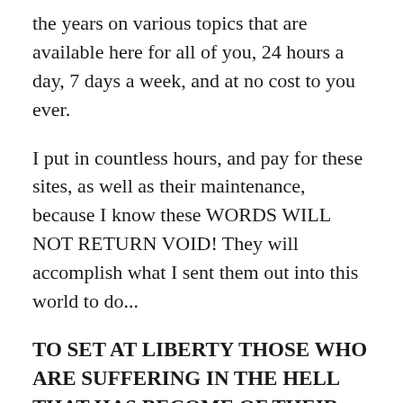the years on various topics that are available here for all of you, 24 hours a day, 7 days a week, and at no cost to you ever.
I put in countless hours, and pay for these sites, as well as their maintenance, because I know these WORDS WILL NOT RETURN VOID! They will accomplish what I sent them out into this world to do...
TO SET AT LIBERTY THOSE WHO ARE SUFFERING IN THE HELL THAT HAS BECOME OF THEIR LIFE!
My friends, it is the TRUTH that...